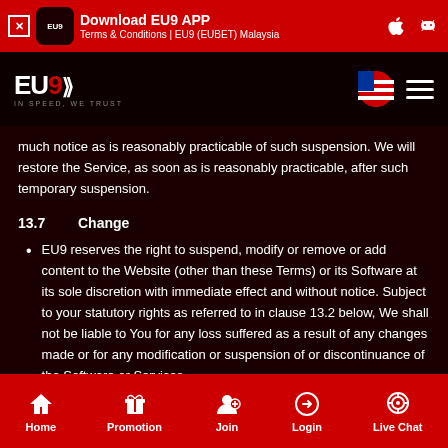Download EU9 APP — Terms & Conditions | EU9 (EUBET) Malaysia
much notice as is reasonably practicable of such suspension. We will restore the Service, as soon as is reasonably practicable, after such temporary suspension.
13.7    Change
EU9 reserves the right to suspend, modify or remove or add content to the Website (other than these Terms) or its Software at its sole discretion with immediate effect and without notice. Subject to your statutory rights as referred to in clause 13.2 below, We shall not be liable to You for any loss suffered as a result of any changes made or for any modification or suspension of or discontinuance of the Software or Services.
Home  Promotion  Join  Login  Live Chat